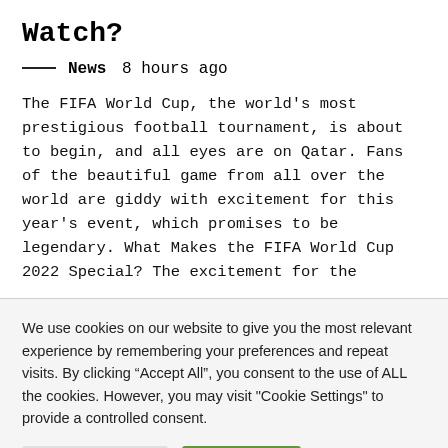Watch?
—— News 8 hours ago
The FIFA World Cup, the world's most prestigious football tournament, is about to begin, and all eyes are on Qatar. Fans of the beautiful game from all over the world are giddy with excitement for this year's event, which promises to be legendary. What Makes the FIFA World Cup 2022 Special? The excitement for the
We use cookies on our website to give you the most relevant experience by remembering your preferences and repeat visits. By clicking "Accept All", you consent to the use of ALL the cookies. However, you may visit "Cookie Settings" to provide a controlled consent.
Cookie Settings | Accept All